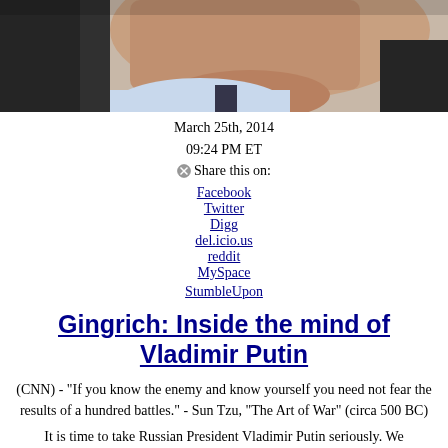[Figure (photo): Close-up photo of an older man in a dark suit with a light blue shirt and dark tie, showing chin and neck area]
March 25th, 2014
09:24 PM ET
⊗Share this on:
Facebook
Twitter
Digg
del.icio.us
reddit
MySpace
StumbleUpon
Gingrich: Inside the mind of Vladimir Putin
(CNN) - "If you know the enemy and know yourself you need not fear the results of a hundred battles." - Sun Tzu, "The Art of War" (circa 500 BC)
It is time to take Russian President Vladimir Putin seriously. We